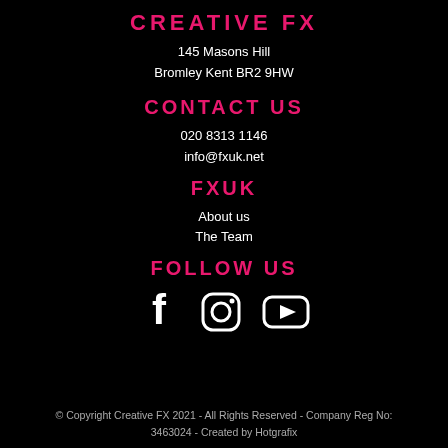CREATIVE FX
145 Masons Hill
Bromley Kent BR2 9HW
CONTACT US
020 8313 1146
info@fxuk.net
FXUK
About us
The Team
FOLLOW US
[Figure (illustration): Social media icons: Facebook, Instagram, YouTube]
© Copyright Creative FX 2021 - All Rights Reserved - Company Reg No: 3463024 - Created by Hotgrafix